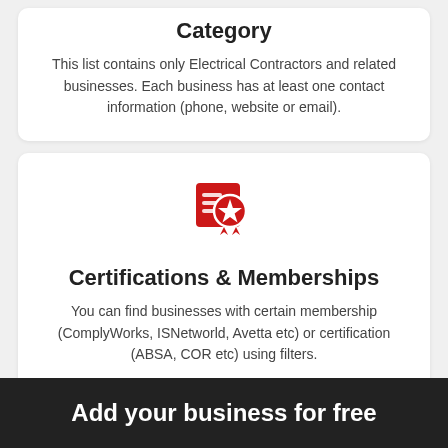Category
This list contains only Electrical Contractors and related businesses. Each business has at least one contact information (phone, website or email).
[Figure (illustration): Red certification/award icon with a star badge and ribbon]
Certifications & Memberships
You can find businesses with certain membership (ComplyWorks, ISNetworld, Avetta etc) or certification (ABSA, COR etc) using filters.
Add your business for free